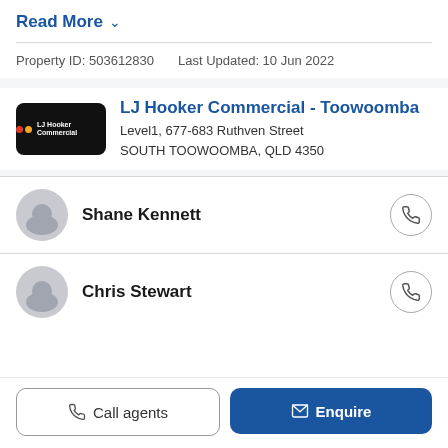Read More ∨
Property ID: 503612830   Last Updated: 10 Jun 2022
[Figure (logo): LJ Hooker Commercial logo on black background]
LJ Hooker Commercial - Toowoomba
Level1, 677-683 Ruthven Street
SOUTH TOOWOOMBA, QLD 4350
Shane Kennett
Chris Stewart
Call agents
Enquire